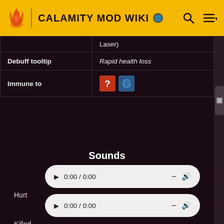CALAMITY MOD WIKI
|  |  |
| --- | --- |
|  | Laser) |
| Debuff tooltip | Rapid health loss |
| Immune to | [icons] |
Sounds
Hurt  0:00 / 0:00
Killed  0:00 / 0:00
Laser Shot  0:00 / 0:01
0:00 / 0:01